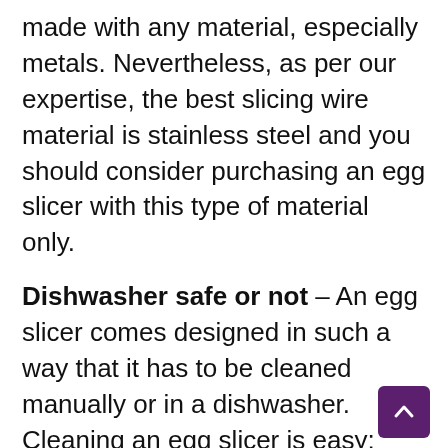made with any material, especially metals. Nevertheless, as per our expertise, the best slicing wire material is stainless steel and you should consider purchasing an egg slicer with this type of material only.
Dishwasher safe or not – An egg slicer comes designed in such a way that it has to be cleaned manually or in a dishwasher. Cleaning an egg slicer is easy; however, there are some egg slicers that come in a complicated shape and size, which makes it incompatible to be cleaned in a dishwasher. Remember, rotten eggs are poisonous and therefore, you cannot avoid cleaning an egg slicer. Therefore, based on